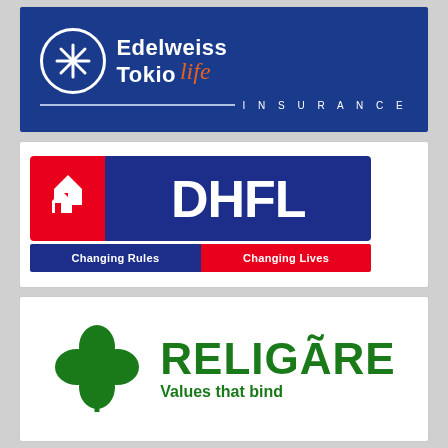[Figure (logo): Edelweiss Tokio Life Insurance logo — blue background with white circle containing asterisk/snowflake, 'Edelweiss Tokio' in white bold text, 'life' in orange italic script, horizontal divider line, 'INSURANCE' in white spaced capitals]
[Figure (logo): DHFL logo — red block with white house icons on left, dark blue block with 'DHFL' in large white bold text, tagline bar below split blue/red reading 'Changing Rules | Changing Lives' in white]
[Figure (logo): Religare logo — green four-leaf clover icon on left, 'RELIGARE' in large dark green bold text with tilde over A, tagline 'Values that bind' in dark green bold text below]